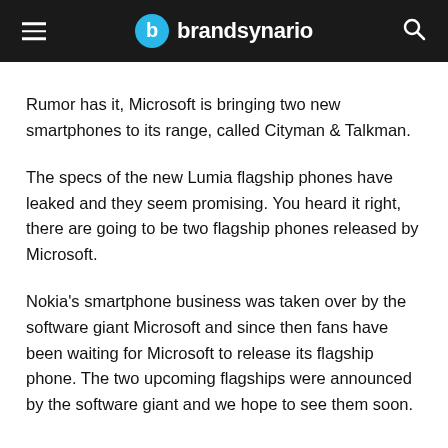brandsynario
Rumor has it, Microsoft is bringing two new smartphones to its range, called Cityman & Talkman.
The specs of the new Lumia flagship phones have leaked and they seem promising. You heard it right, there are going to be two flagship phones released by Microsoft.
Nokia's smartphone business was taken over by the software giant Microsoft and since then fans have been waiting for Microsoft to release its flagship phone. The two upcoming flagships were announced by the software giant and we hope to see them soon.